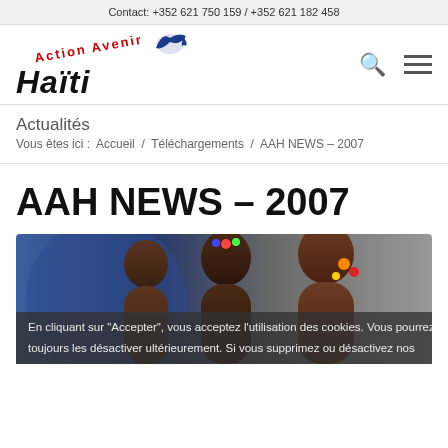Contact: +352 621 750 159 / +352 621 182 458
[Figure (logo): Action Avenir Haiti logo with red arc text 'Action Avenir', blue bird silhouette, and bold italic black text 'Haïti']
Actualités
Vous êtes ici :  Accueil  /  Téléchargements  /  AAH NEWS – 2007
AAH NEWS – 2007
[Figure (photo): Photograph of Haitian children looking at the camera, with a blue background on the left side]
En cliquant sur "Accepter", vous acceptez l'utilisation des cookies. Vous pourrez toujours les désactiver ultérieurement. Si vous supprimez ou désactivez nos